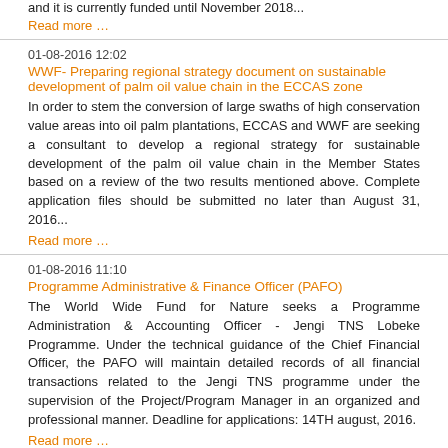and it is currently funded until November 2018...
Read more …
01-08-2016 12:02
WWF- Preparing regional strategy document on sustainable development of palm oil value chain in the ECCAS zone
In order to stem the conversion of large swaths of high conservation value areas into oil palm plantations, ECCAS and WWF are seeking a consultant to develop a regional strategy for sustainable development of the palm oil value chain in the Member States based on a review of the two results mentioned above. Complete application files should be submitted no later than August 31, 2016...
Read more …
01-08-2016 11:10
Programme Administrative & Finance Officer (PAFO)
The World Wide Fund for Nature seeks a Programme Administration & Accounting Officer - Jengi TNS Lobeke Programme. Under the technical guidance of the Chief Financial Officer, the PAFO will maintain detailed records of all financial transactions related to the Jengi TNS programme under the supervision of the Project/Program Manager in an organized and professional manner. Deadline for applications: 14TH august, 2016.
Read more …
01-08-2016 11:00
FTNS-Call for expressions of interest
In order to update of its database of potential suppliers, the Executive Board of the Tri Sangha National Foundation (FTNS) headquartered in Yaoundé, Cameroon and located at derrière usine Bastos is inviting expressions of interest from companies and other organizations interested in bidding and